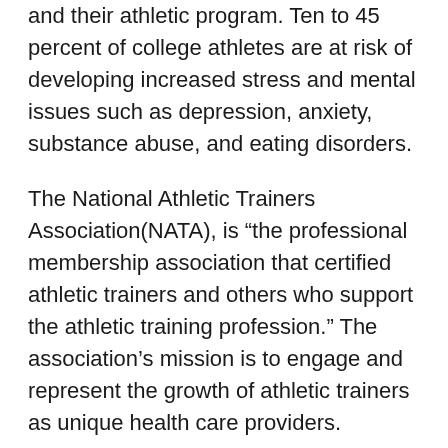and their athletic program. Ten to 45 percent of college athletes are at risk of developing increased stress and mental issues such as depression, anxiety, substance abuse, and eating disorders.
The National Athletic Trainers Association(NATA), is “the professional membership association that certified athletic trainers and others who support the athletic training profession.” The association’s mission is to engage and represent the growth of athletic trainers as unique health care providers.